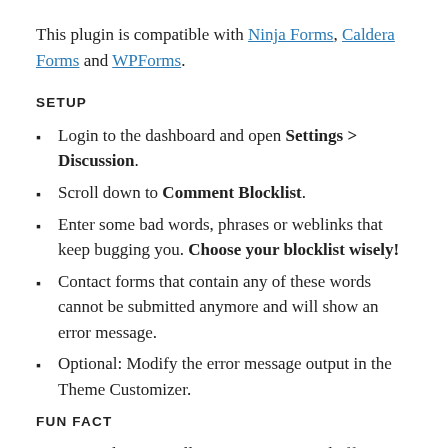This plugin is compatible with Ninja Forms, Caldera Forms and WPForms.
SETUP
Login to the dashboard and open Settings > Discussion.
Scroll down to Comment Blocklist.
Enter some bad words, phrases or weblinks that keep bugging you. Choose your blocklist wisely!
Contact forms that contain any of these words cannot be submitted anymore and will show an error message.
Optional: Modify the error message output in the Theme Customizer.
FUN FACT
Spam emails are usually very annoying and affect